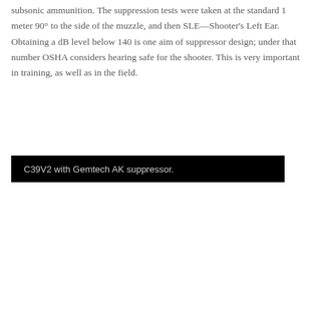subsonic ammunition. The suppression tests were taken at the standard 1 meter 90° to the side of the muzzle, and then SLE—Shooter's Left Ear. Obtaining a dB level below 140 is one aim of suppressor design; under that number OSHA considers hearing safe for the shooter. This is very important in training, as well as in the field.
C39V2 with Gemtech AK suppressor.